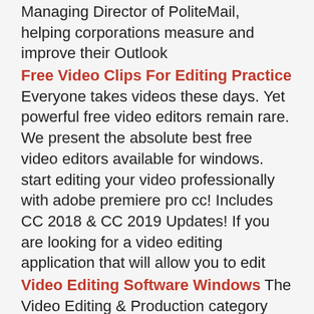Managing Director of PoliteMail, helping corporations measure and improve their Outlook
Free Video Clips For Editing Practice Everyone takes videos these days. Yet powerful free video editors remain rare. We present the absolute best free video editors available for windows. start editing your video professionally with adobe premiere pro cc! Includes CC 2018 & CC 2019 Updates! If you are looking for a video editing application that will allow you to edit
Video Editing Software Windows The Video Editing & Production category includes software programs designed to record, edit, and produce video in various digital file formats and to export that video to DVDs or other external media. downloading the best video editing software for your needs is essential whether you're … but you can arrange the various controls and windows
Promote A Youtube Video Importance Of Video